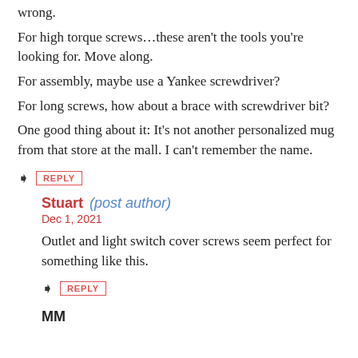wrong.
For high torque screws...these aren't the tools you're looking for. Move along.
For assembly, maybe use a Yankee screwdriver?
For long screws, how about a brace with screwdriver bit?
One good thing about it: It's not another personalized mug from that store at the mall. I can't remember the name.
→ REPLY
Stuart (post author)
Dec 1, 2021
Outlet and light switch cover screws seem perfect for something like this.
→ REPLY
MM